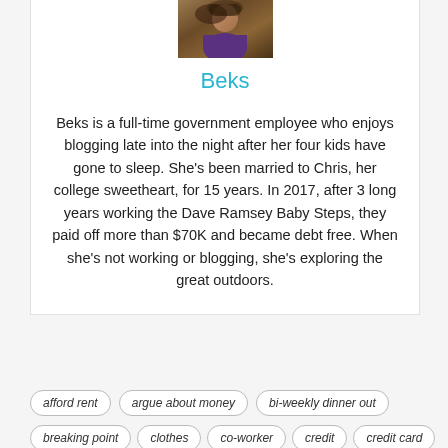[Figure (photo): Profile photo of Beks, a woman outdoors]
Beks
Beks is a full-time government employee who enjoys blogging late into the night after her four kids have gone to sleep.  She's been married to Chris, her college sweetheart, for 15 years.  In 2017, after 3 long years working the Dave Ramsey Baby Steps, they paid off more than $70K and became debt free.  When she's not working or blogging, she's exploring the great outdoors.
afford rent
argue about money
bi-weekly dinner out
breaking point
clothes
co-worker
credit
credit card